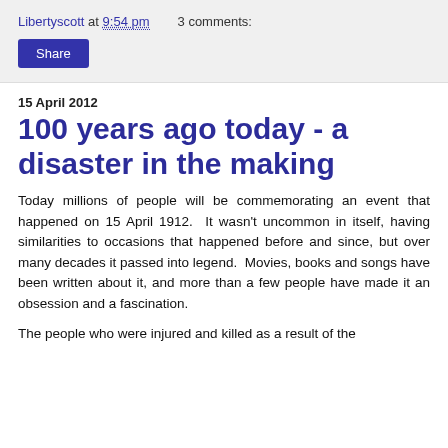Libertyscott at 9:54 pm   3 comments:
Share
15 April 2012
100 years ago today - a disaster in the making
Today millions of people will be commemorating an event that happened on 15 April 1912.  It wasn't uncommon in itself, having similarities to occasions that happened before and since, but over many decades it passed into legend.  Movies, books and songs have been written about it, and more than a few people have made it an obsession and a fascination.
The people who were injured and killed as a result of the